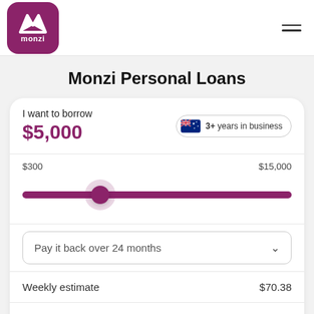Monzi logo and navigation
Monzi Personal Loans
I want to borrow $5,000 · 3+ years in business
$300 — $15,000 slider at $5,000
Pay it back over 24 months
Weekly estimate $70.38
Fortnightly estimate $140.95